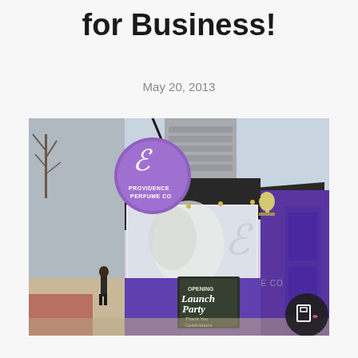for Business!
May 20, 2013
[Figure (photo): Exterior photo of Providence Perfume Co storefront with purple door and signage, showing an 'Opening Launch Party' chalkboard sign outside.]